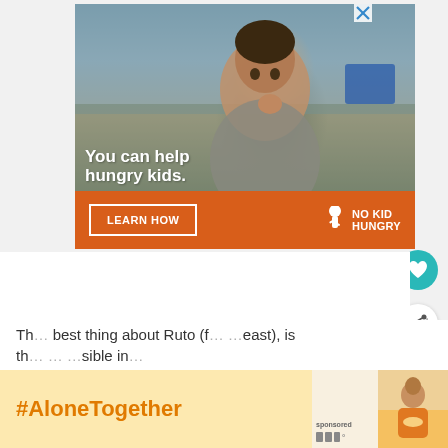[Figure (photo): Advertisement for No Kid Hungry charity. Photo of a young boy eating in a classroom. Text overlay: 'You can help hungry kids.' Orange banner at bottom with 'LEARN HOW' button and 'NO KID HUNGRY' logo.]
[Figure (infographic): Teal circular heart/favorite button]
[Figure (infographic): White circular share button with share icon]
[Figure (screenshot): What's Next panel with thumbnail image and text: 'WHAT'S NEXT → How to Plan an Epic Day...']
Th... best thing about Ruto (f... ... east), is th... ... sible in...
[Figure (infographic): #AloneTogether campaign banner in yellow/tan background with orange hashtag text]
[Figure (screenshot): Second small ad in bottom right corner with woman cooking image, close X button, and small icons]